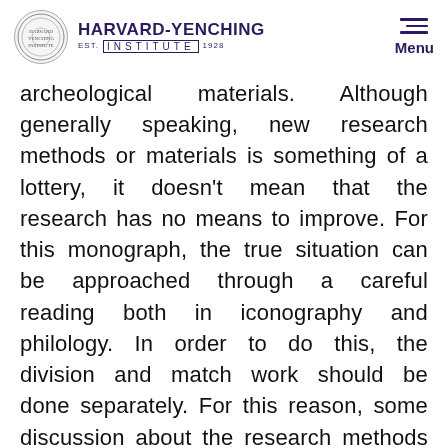HARVARD-YENCHING INSTITUTE
archeological materials. Although generally speaking, new research methods or materials is something of a lottery, it doesn't mean that the research has no means to improve. For this monograph, the true situation can be approached through a careful reading both in iconography and philology. In order to do this, the division and match work should be done separately. For this reason, some discussion about the research methods on both sides should be pointed out. For example, as in Chapter 3, because of the discovered layer underneath, there are multiple possibilities in the interpretation about the history of the cave. This